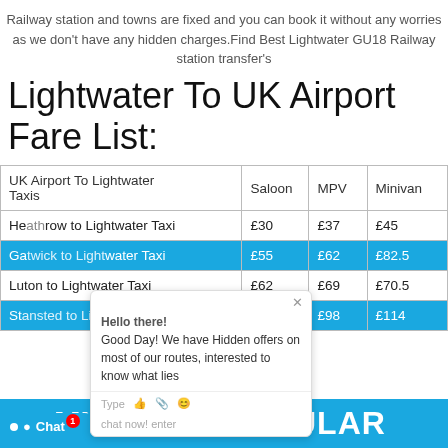Railway station and towns are fixed and you can book it without any worries as we don't have any hidden charges.Find Best Lightwater GU18 Railway station transfer's
Lightwater To UK Airport Fare List:
| UK Airport To Lightwater Taxis | Saloon | MPV | Minivan |
| --- | --- | --- | --- |
| Heathrow to Lightwater Taxi | £30 | £37 | £45 |
| Gatwick to Lightwater Taxi | £55 | £62 | £82.5 |
| Luton to Lightwater Taxi | £62 | £69 | £70.5 |
| Stansted to Lightwater Taxi | £91 | £98 | £114 |
MYTAXE - POPULAR